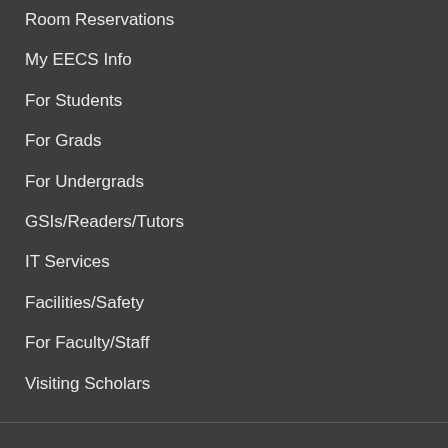Room Reservations
My EECS Info
For Students
For Grads
For Undergrads
GSIs/Readers/Tutors
IT Services
Facilities/Safety
For Faculty/Staff
Visiting Scholars
Industry
Recruit Students
Entrepreneurial Activity